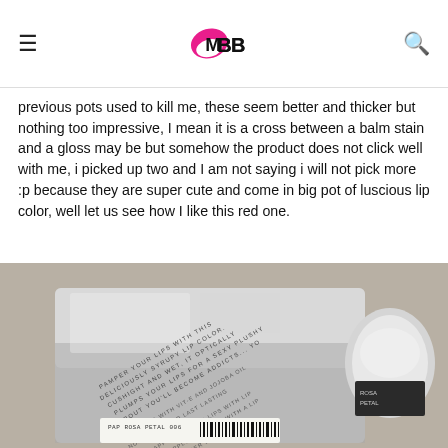IMBB
previous pots used to kill me, these seem better and thicker but nothing too impressive, I mean it is a cross between a balm stain and a gloss may be but somehow the product does not click well with me, i picked up two and I am not saying i will not pick more :p because they are super cute and come in big pot of luscious lip color, well let us see how I like this red one.
[Figure (photo): Close-up photograph of the back of a silver metallic lip color product pot showing text about the product including ingredients and how to apply, with a barcode label reading PAP ROSA PETAL 006 at the bottom.]